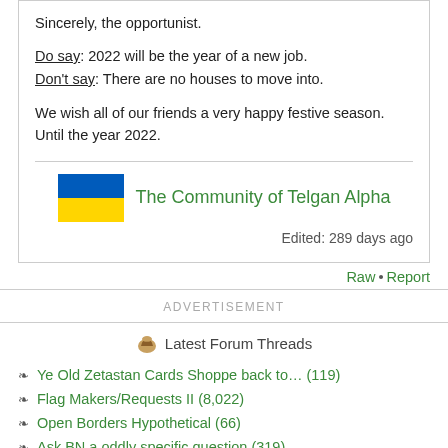Sincerely, the opportunist.
Do say: 2022 will be the year of a new job.
Don't say: There are no houses to move into.
We wish all of our friends a very happy festive season. Until the year 2022.
[Figure (illustration): Ukrainian flag (blue top half, yellow bottom half) next to green text 'The Community of Telgan Alpha']
Edited: 289 days ago
Raw • Report
ADVERTISEMENT
Latest Forum Threads
Ye Old Zetastan Cards Shoppe back to… (119)
Flag Makers/Requests II (8,022)
Open Borders Hypothetical (66)
Ask BN a oddly specific question (319)
What does the AN's motto tell you? [4] (6,904)